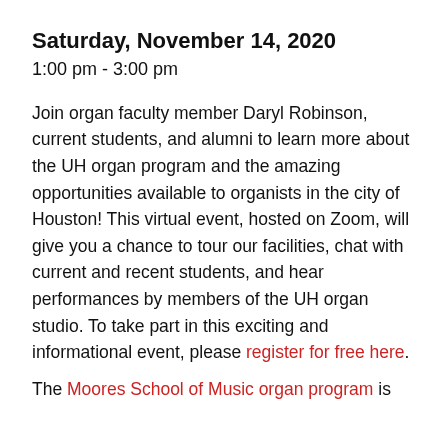Saturday, November 14, 2020
1:00 pm - 3:00 pm
Join organ faculty member Daryl Robinson, current students, and alumni to learn more about the UH organ program and the amazing opportunities available to organists in the city of Houston! This virtual event, hosted on Zoom, will give you a chance to tour our facilities, chat with current and recent students, and hear performances by members of the UH organ studio. To take part in this exciting and informational event, please register for free here.
The Moores School of Music organ program is